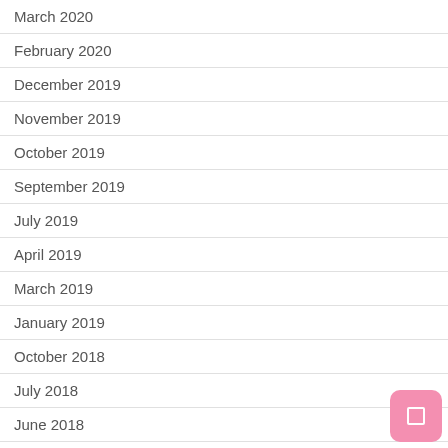March 2020
February 2020
December 2019
November 2019
October 2019
September 2019
July 2019
April 2019
March 2019
January 2019
October 2018
July 2018
June 2018
May 2018
April 2018